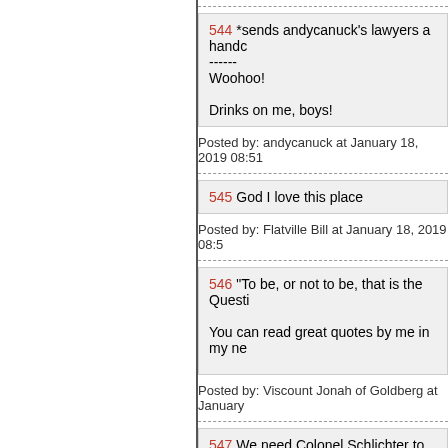544 *sends andycanuck's lawyers a handc------
Woohoo!

Drinks on me, boys!
Posted by: andycanuck at January 18, 2019 08:51
545 God I love this place
Posted by: Flatville Bill at January 18, 2019 08:5
546 "To be, or not to be, that is the Questi

You can read great quotes by me in my ne
Posted by: Viscount Jonah of Goldberg at January
547 We need Colonel Schlichter to addres